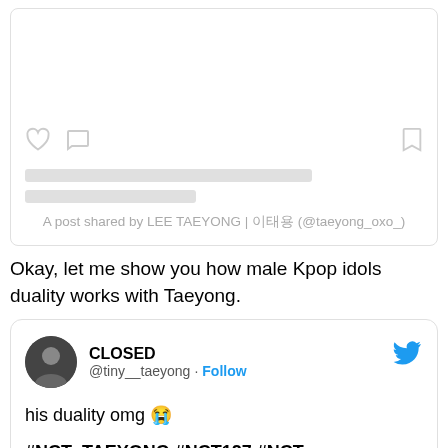[Figure (screenshot): Instagram post embed card with greyed-out placeholder image, heart/comment/bookmark icons, two grey content loading lines, and caption text: 'A post shared by LEE TAEYONG | 이태용 (@taeyong_oxo_)']
Okay, let me show you how male Kpop idols duality works with Taeyong.
[Figure (screenshot): Twitter embed card showing user 'CLOSED' @tiny__taeyong with Follow button and Twitter bird icon. Tweet text: 'his duality omg 😭' followed by hashtags '#NCT_TAEYONG #NCT127 #NCT #SUPERM #NCT 日本']